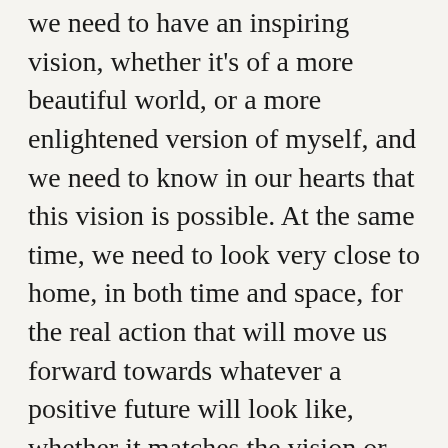we need to have an inspiring vision, whether it's of a more beautiful world, or a more enlightened version of myself, and we need to know in our hearts that this vision is possible. At the same time, we need to look very close to home, in both time and space, for the real action that will move us forward towards whatever a positive future will look like, whether it matches the vision or not. Like belief, a vision of the future is a tool that can be used for adjusting the knobs and dials of our own minds and motivations. Meanwhile, the knobs and dials of my mind affect the future I can see, and so believe.